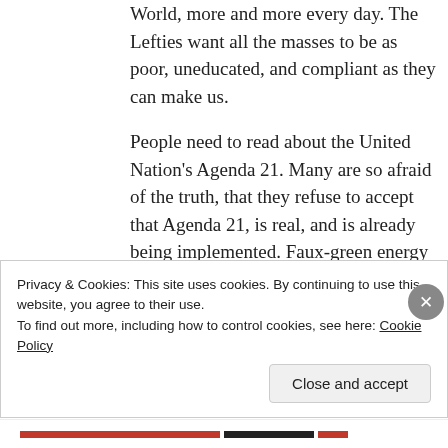World, more and more every day. The Lefties want all the masses to be as poor, uneducated, and compliant as they can make us.
People need to read about the United Nation's Agenda 21. Many are so afraid of the truth, that they refuse to accept that Agenda 21, is real, and is already being implemented. Faux-green energy is just the tip of the iceberg. A way to “redistribute” wealth, on a monumental
Privacy & Cookies: This site uses cookies. By continuing to use this website, you agree to their use.
To find out more, including how to control cookies, see here: Cookie Policy
Close and accept